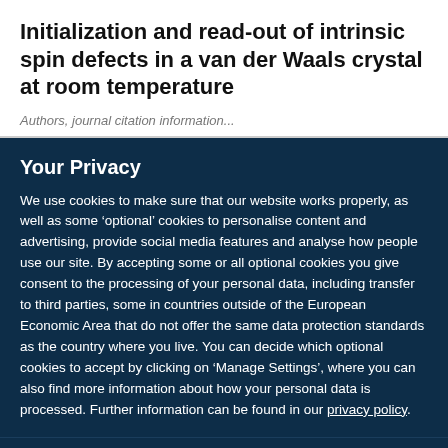Initialization and read-out of intrinsic spin defects in a van der Waals crystal at room temperature
Authors, journal citation information (partially visible)
Your Privacy
We use cookies to make sure that our website works properly, as well as some ‘optional’ cookies to personalise content and advertising, provide social media features and analyse how people use our site. By accepting some or all optional cookies you give consent to the processing of your personal data, including transfer to third parties, some in countries outside of the European Economic Area that do not offer the same data protection standards as the country where you live. You can decide which optional cookies to accept by clicking on ‘Manage Settings’, where you can also find more information about how your personal data is processed. Further information can be found in our privacy policy.
Accept all cookies
Manage preferences